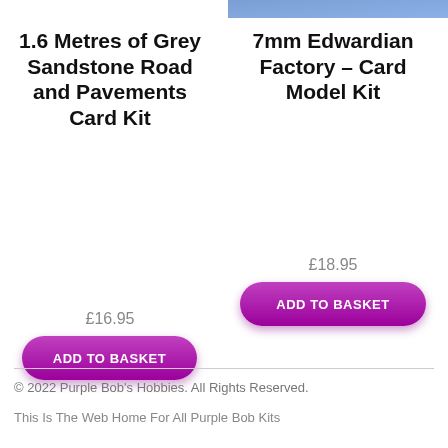1.6 Metres of Grey Sandstone Road and Pavements Card Kit
£16.95
ADD TO BASKET
7mm Edwardian Factory – Card Model Kit
£18.95
ADD TO BASKET
© 2022 Purple Bob's Hobbies. All Rights Reserved.
This Is The Web Home For All Purple Bob Kits